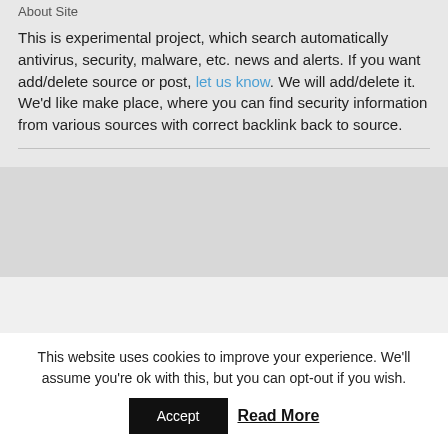About Site
This is experimental project, which search automatically antivirus, security, malware, etc. news and alerts. If you want add/delete source or post, let us know. We will add/delete it. We'd like make place, where you can find security information from various sources with correct backlink back to source.
This website uses cookies to improve your experience. We'll assume you're ok with this, but you can opt-out if you wish.